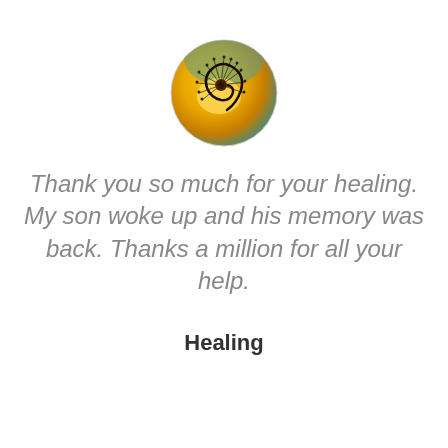[Figure (illustration): Circular logo with a golden dandelion spiral against a yellow and teal background]
Thank you so much for your healing. My son woke up and his memory was back. Thanks a million for all your help.
Healing